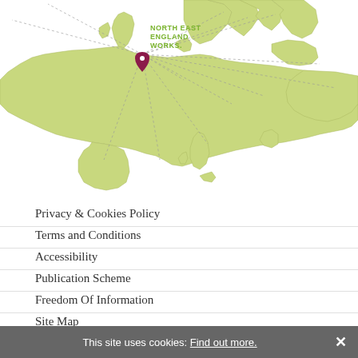[Figure (map): Map of Europe with a location pin over North East England (North East England WORKS. label in green), with dashed lines radiating outward to various European cities/destinations. The map landmass is in light yellow-green color.]
Privacy & Cookies Policy
Terms and Conditions
Accessibility
Publication Scheme
Freedom Of Information
Site Map
This site uses cookies: Find out more.